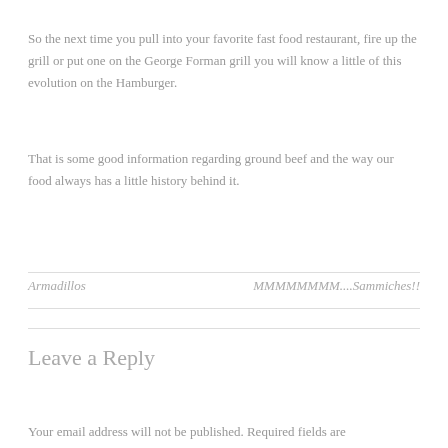So the next time you pull into your favorite fast food restaurant, fire up the grill or put one on the George Forman grill you will know a little of this evolution on the Hamburger.
That is some good information regarding ground beef and the way our food always has a little history behind it.
Armadillos   MMMMMMMM....Sammiches!!
Leave a Reply
Your email address will not be published. Required fields are